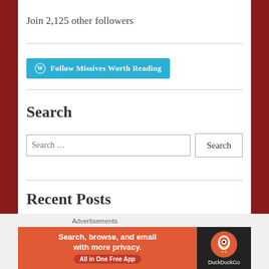Join 2,125 other followers
[Figure (other): Follow Missives Worth Reading button with WordPress logo in teal/cyan color]
Search
[Figure (other): Search input field with placeholder 'Search …' and a Search button]
Recent Posts
[Figure (other): DuckDuckGo advertisement banner: Search, browse, and email with more privacy. All in One Free App]
Advertisements